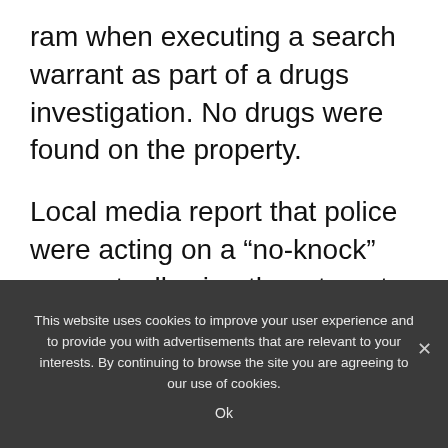ram when executing a search warrant as part of a drugs investigation. No drugs were found on the property.
Local media report that police were acting on a “no-knock” warrant, allowing them to enter the home without warning. Police say despite the warrant, they knocked before entering but Ms Taylor’s family and a neighbour have disputed this.
This website uses cookies to improve your user experience and to provide you with advertisements that are relevant to your interests. By continuing to browse the site you are agreeing to our use of cookies.
Ok